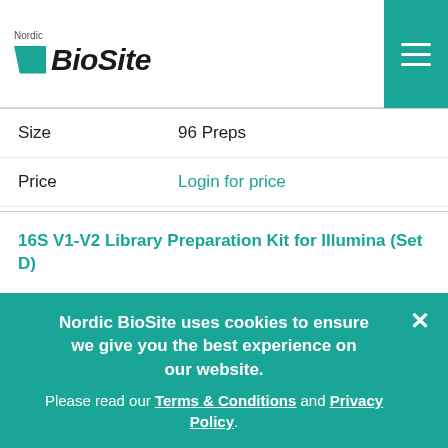Nordic BioSite
| Field | Value |
| --- | --- |
| Size | 96 Preps |
| Price | Login for price |
16S V1-V2 Library Preparation Kit for Illumina (Set D)
| Field | Value |
| --- | --- |
| Art no | 298-70140 |
| Application | Library Preparation |
| Size | 96 Preps |
| Price | Login for price |
Nordic BioSite uses cookies to ensure we give you the best experience on our website. Please read our Terms & Conditions and Privacy Policy.